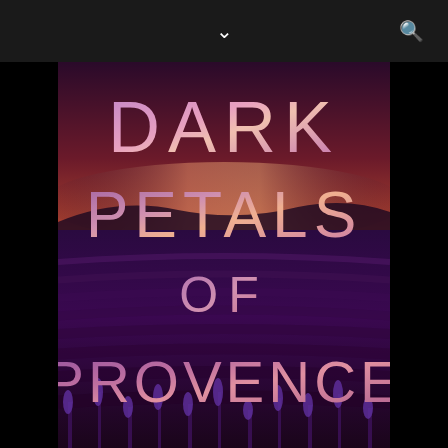[Figure (illustration): Book cover for 'Dark Petals of Provence' showing a lavender field at dusk with a dramatic purple and orange sky. Large stylized text overlays the image reading DARK PETALS OF PROVENCE in gradient pink-purple lettering.]